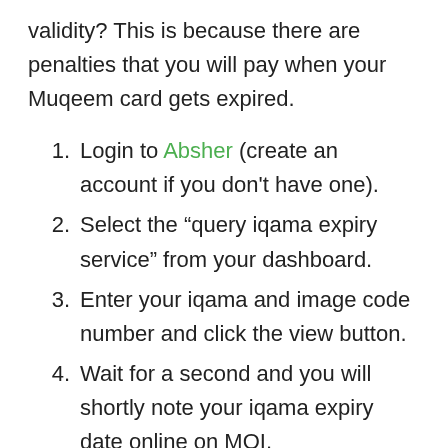validity? This is because there are penalties that you will pay when your Muqeem card gets expired.
Login to Absher (create an account if you don't have one).
Select the “query iqama expiry service” from your dashboard.
Enter your iqama and image code number and click the view button.
Wait for a second and you will shortly note your iqama expiry date online on MOI.
If you are working in a company then the company responded to take care of it and you don’t need to